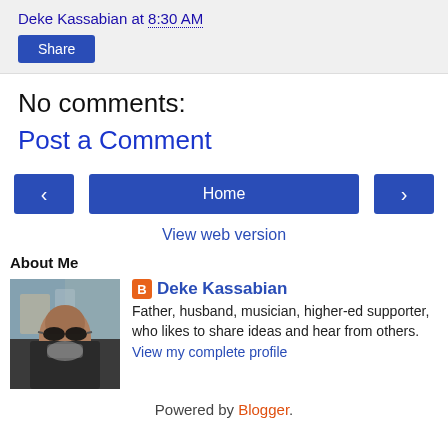Deke Kassabian at 8:30 AM
Share
No comments:
Post a Comment
[Figure (screenshot): Navigation row with left arrow button, Home button, and right arrow button]
View web version
About Me
[Figure (photo): Profile photo of Deke Kassabian, a man with sunglasses and a beard, outdoors in front of buildings]
Deke Kassabian
Father, husband, musician, higher-ed supporter, who likes to share ideas and hear from others.
View my complete profile
Powered by Blogger.